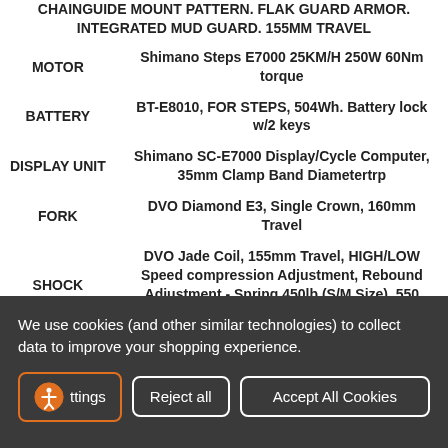| Component | Description |
| --- | --- |
|  | CHAINGUIDE MOUNT PATTERN. FLAK GUARD ARMOR. INTEGRATED MUD GUARD. 155MM TRAVEL |
| MOTOR | Shimano Steps E7000 25KM/H 250W 60Nm torque |
| BATTERY | BT-E8010, FOR STEPS, 504Wh. Battery lock w/2 keys |
| DISPLAY UNIT | Shimano SC-E7000 Display/Cycle Computer, 35mm Clamp Band Diametertrp |
| FORK | DVO Diamond E3, Single Crown, 160mm Travel |
| SHOCK | DVO Jade Coil, 155mm Travel, HIGH/LOW Speed compression Adjustment, Rebound Adjustment - Spring 450lb (S/M Size), 550 (L/XL Size). |
| WHEELSET | eThirteen E*Spec Alloy Rim 30mm Rim Width x 29" Font / 35mm Rim Width x 27.5" Rear. |
We use cookies (and other similar technologies) to collect data to improve your shopping experience.
Settings | Reject all | Accept All Cookies